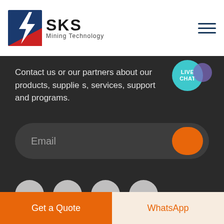[Figure (logo): SKS Mining Technology logo with stylized lightning bolt in blue and red colors]
Contact us or our partners about our products, suppliers, services, support and programs.
[Figure (screenshot): Email input field with orange send button on dark background]
[Figure (screenshot): Four gray social media icon circles]
[Figure (screenshot): Live Chat teal circle button with purple chat bubble]
Get a Quote
WhatsApp